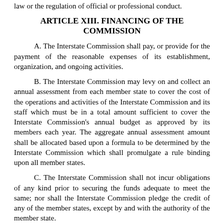law or the regulation of official or professional conduct.
ARTICLE XIII. FINANCING OF THE COMMISSION
A. The Interstate Commission shall pay, or provide for the payment of the reasonable expenses of its establishment, organization, and ongoing activities.
B. The Interstate Commission may levy on and collect an annual assessment from each member state to cover the cost of the operations and activities of the Interstate Commission and its staff which must be in a total amount sufficient to cover the Interstate Commission's annual budget as approved by its members each year. The aggregate annual assessment amount shall be allocated based upon a formula to be determined by the Interstate Commission which shall promulgate a rule binding upon all member states.
C. The Interstate Commission shall not incur obligations of any kind prior to securing the funds adequate to meet the same; nor shall the Interstate Commission pledge the credit of any of the member states, except by and with the authority of the member state.
D. The Interstate Commission shall keep accurate accounts of all receipts and disbursements. The receipts and